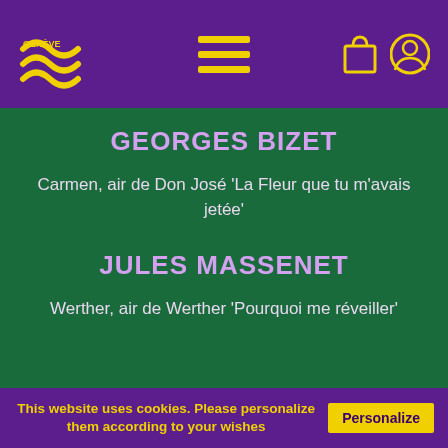[Figure (logo): OSR Genève logo in yellow on purple background with hamburger menu and shopping bag and user icons]
GEORGES BIZET
Carmen, air de Don José 'La Fleur que tu m'avais jetée'
JULES MASSENET
Werther, air de Werther 'Pourquoi me réveiller'
This website uses cookies. Please personalize them according to your wishes Personalize